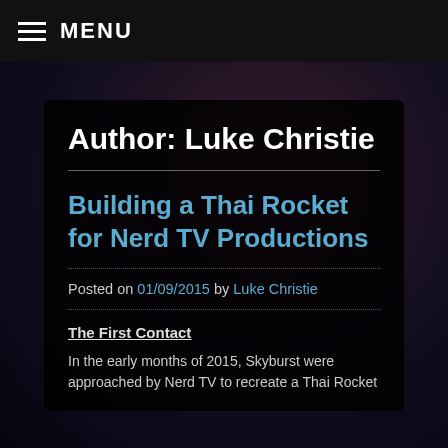MENU
Author: Luke Christie
Building a Thai Rocket for Nerd TV Productions
Posted on 01/09/2015 by Luke Christie
The First Contact
In the early months of 2015, Skyburst were approached by Nerd TV to recreate a Thai Rocket